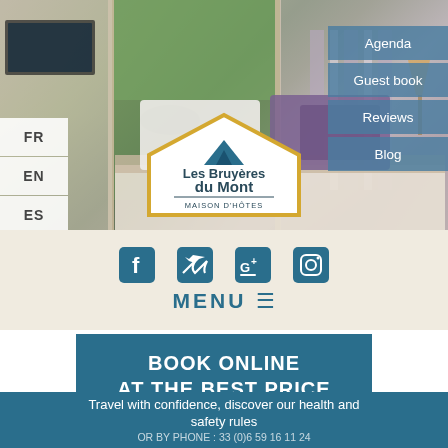[Figure (photo): Hotel bedroom scene with purple bedding, sliding glass door opening to garden terrace, lamp on bedside table. Hotel logo 'Les Bruyères du Mont - Maison d'Hôtes' displayed in center as pentagon/house shape with gold border.]
FR
EN
ES
DE
Agenda
Guest book
Reviews
Blog
[Figure (infographic): Social media icons: Facebook, Twitter, Google+, Instagram in teal/blue color]
MENU ☰
BOOK ONLINE AT THE BEST PRICE GUARANTEED
Travel with confidence, discover our health and safety rules
OR BY PHONE : 33 (0)6 59 16 11 24